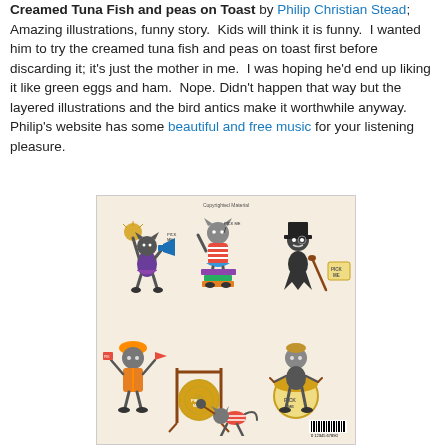Creamed Tuna Fish and peas on Toast by Philip Christian Stead; Amazing illustrations, funny story. Kids will think it is funny. I wanted him to try the creamed tuna fish and peas on toast first before discarding it; it's just the mother in me. I was hoping he'd end up liking it like green eggs and ham. Nope. Didn't happen that way but the layered illustrations and the bird antics make it worthwhile anyway. Philip's website has some beautiful and free music for your listening pleasure.
[Figure (illustration): Back cover of children's book showing multiple cartoon cats in various playful poses: a cheerleader cat with pompoms and megaphone, a cat in striped shirt standing on books, a cat in top hat with cane next to a 'Pick Me' sign, a cat in orange vest holding flags, a cat playing drums, and a cat hitting a gong. Cream/beige background with 'Copyrighted Material' watermark and barcode at bottom right.]